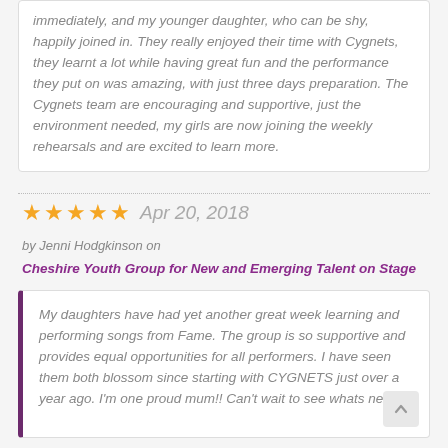immediately, and my younger daughter, who can be shy, happily joined in. They really enjoyed their time with Cygnets, they learnt a lot while having great fun and the performance they put on was amazing, with just three days preparation. The Cygnets team are encouraging and supportive, just the environment needed, my girls are now joining the weekly rehearsals and are excited to learn more.
★★★★★  Apr 20, 2018
by Jenni Hodgkinson on
Cheshire Youth Group for New and Emerging Talent on Stage
My daughters have had yet another great week learning and performing songs from Fame. The group is so supportive and provides equal opportunities for all performers. I have seen them both blossom since starting with CYGNETS just over a year ago. I'm one proud mum!! Can't wait to see whats next!